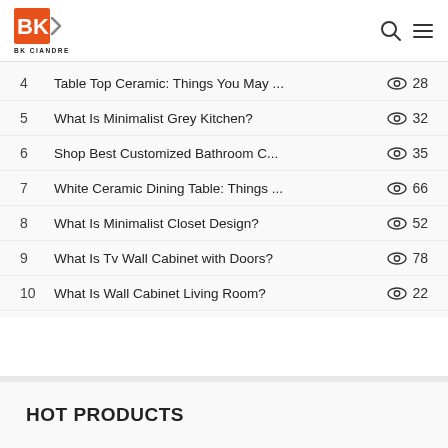BK CIANDRE
4   Table Top Ceramic: Things You May ...   28
5   What Is Minimalist Grey Kitchen?   32
6   Shop Best Customized Bathroom C...   35
7   White Ceramic Dining Table: Things ...   66
8   What Is Minimalist Closet Design?   52
9   What Is Tv Wall Cabinet with Doors?   78
10   What Is Wall Cabinet Living Room?   22
HOT PRODUCTS